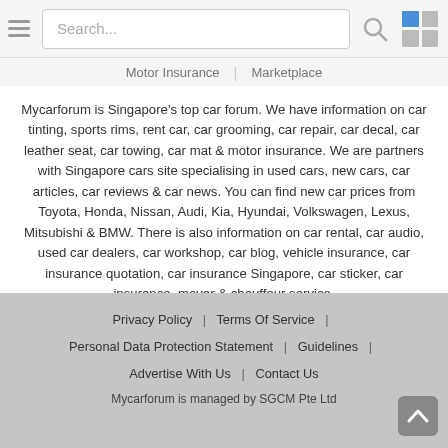Search... [navigation bar with hamburger menu, search box, search icon, grid icon]
Motor Insurance | Marketplace
Mycarforum is Singapore's top car forum. We have information on car tinting, sports rims, rent car, car grooming, car repair, car decal, car leather seat, car towing, car mat & motor insurance. We are partners with Singapore cars site specialising in used cars, new cars, car articles, car reviews & car news. You can find new car prices from Toyota, Honda, Nissan, Audi, Kia, Hyundai, Volkswagen, Lexus, Mitsubishi & BMW. There is also information on car rental, car audio, used car dealers, car workshop, car blog, vehicle insurance, car insurance quotation, car insurance Singapore, car sticker, car insurance, mover & chauffeur service.
Follow mycarforum.com [Facebook icon]
Privacy Policy | Terms Of Service | Personal Data Protection Statement | Guidelines | Advertise With Us | Contact Us
Mycarforum is managed by SGCM Pte Ltd